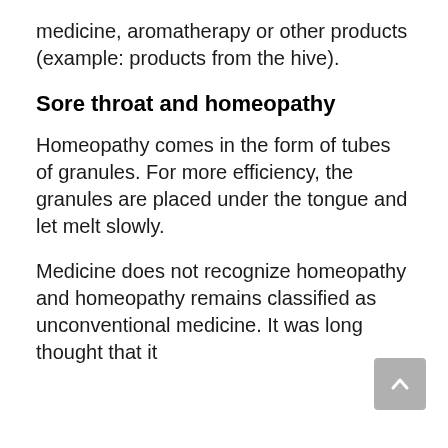medicine, aromatherapy or other products (example: products from the hive).
Sore throat and homeopathy
Homeopathy comes in the form of tubes of granules. For more efficiency, the granules are placed under the tongue and let melt slowly.
Medicine does not recognize homeopathy and homeopathy remains classified as unconventional medicine. It was long thought that it